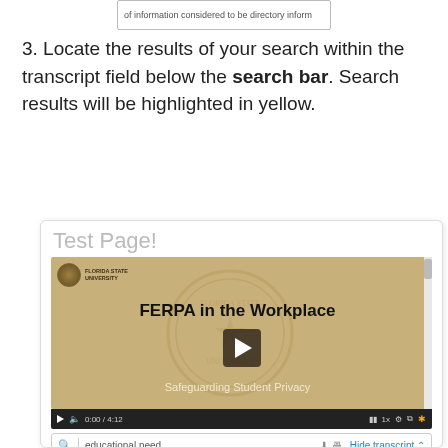[Figure (screenshot): Partial screenshot showing text 'of information considered to be directory inform' in a cropped UI element]
3. Locate the results of your search within the transcript field below the search bar. Search results will be highlighted in yellow.
[Figure (screenshot): Screenshot of a web page showing 'Test Page!' heading and an embedded video player. The video is titled 'FERPA in the Workplace - Safeguarding Student Privacy' with Florida State University branding. Below the video player is a search bar with 'educational need' typed in, and a 'Hide transcript' button on the right.]